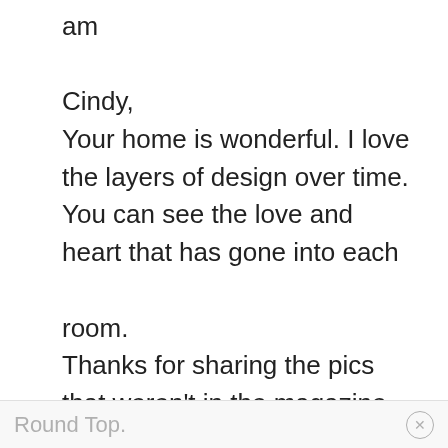am

Cindy,
Your home is wonderful. I love the layers of design over time. You can see the love and heart that has gone into each room.
Thanks for sharing the pics that weren't in the magazine. Can't wait to hear about
Round Top.